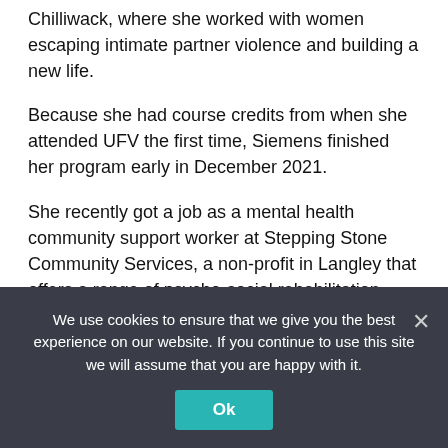Chilliwack, where she worked with women escaping intimate partner violence and building a new life.
Because she had course credits from when she attended UFV the first time, Siemens finished her program early in December 2021.
She recently got a job as a mental health community support worker at Stepping Stone Community Services, a non-profit in Langley that offers a range of psycho-social rehabilitation programs and services that are person-centered and recovery-focused.
Although it has since been..., the Siemens is...
We use cookies to ensure that we give you the best experience on our website. If you continue to use this site we will assume that you are happy with it.